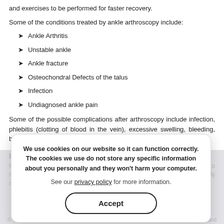and exercises to be performed for faster recovery.
Some of the conditions treated by ankle arthroscopy include:
Ankle Arthritis
Unstable ankle
Ankle fracture
Osteochondral Defects of the talus
Infection
Undiagnosed ankle pain
Some of the possible complications after arthroscopy include infection, phlebitis (clotting of blood in the vein), excessive swelling, bleeding, blood vessel or nerve damage.
Recovery
It may take several weeks for the puncture wounds to heal and the joint to recover completely. A rehabilitation programme may be advised for a speedy recovery of normal joint function.
We use cookies on our website so it can function correctly. The cookies we use do not store any specific information about you personally and they won't harm your computer.
See our privacy policy for more information.
Accept
© The Orthopaedic Clinic Joint Replacement Musculoskeletal Tumours Auckland New Zealand